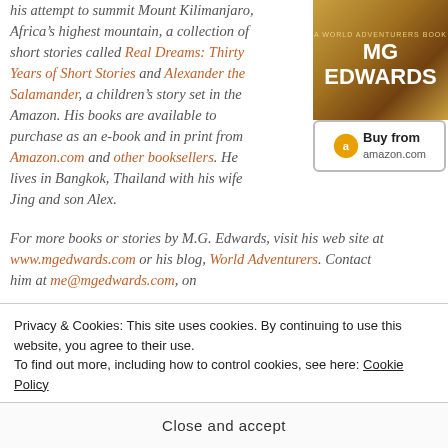his attempt to summit Mount Kilimanjaro, Africa’s highest mountain, a collection of short stories called Real Dreams: Thirty Years of Short Stories and Alexander the Salamander, a children’s story set in the Amazon. His books are available to purchase as an e-book and in print from Amazon.com and other booksellers. He lives in Bangkok, Thailand with his wife Jing and son Alex.
[Figure (other): MG Edwards World Adventurers book cover with Buy from Amazon.com button]
For more books or stories by M.G. Edwards, visit his web site at www.mgedwards.com or his blog, World Adventurers. Contact him at me@mgedwards.com, on
Privacy & Cookies: This site uses cookies. By continuing to use this website, you agree to their use.
To find out more, including how to control cookies, see here: Cookie Policy
Close and accept